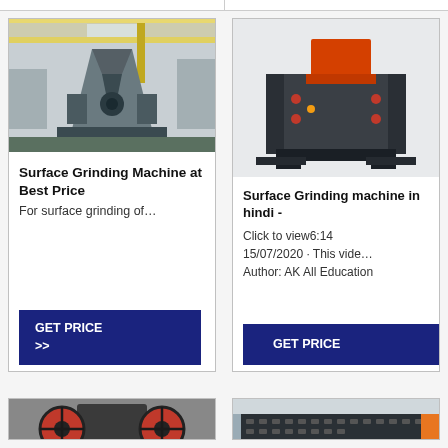[Figure (photo): Industrial surface grinding machine in factory setting - large conical metal structure]
Surface Grinding Machine at Best Price
For surface grinding of…
GET PRICE >>
[Figure (photo): Surface grinding machine - dark grey industrial crusher/grinder with orange top hopper]
Surface Grinding machine in hindi -
Click to view6:14
15/07/2020 · This vide…
Author: AK All Education
GET PRICE
[Figure (photo): Jaw crusher machine with red flywheel]
[Figure (photo): Large industrial screening/grinding machine in factory]